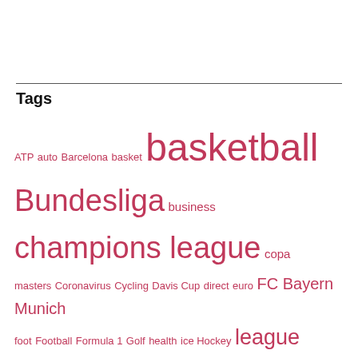Tags
ATP auto Barcelona basket basketball Bundesliga business champions league copa masters Coronavirus Cycling Davis Cup direct euro FC Bayern Munich foot Football Formula 1 Golf health ice Hockey league League 1 Manchester United match NBA news NFL open australia politics Premier League psg ranking Real Madrid results roland garros Soccer Southgerman Sport Sports tennis